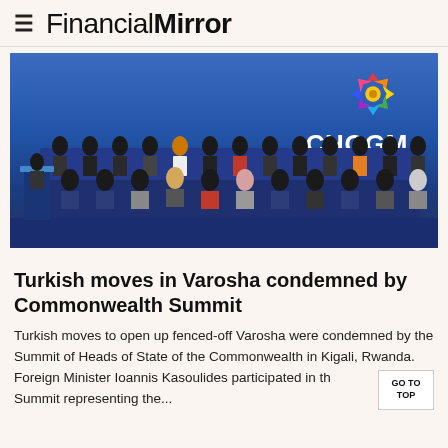FinancialMirror
[Figure (photo): CHOGM Rwanda 2022 summit photo showing heads of state and government seated in rows on a stage, with a speaker at a podium on the left and the colorful CHOGM Rwanda 2022 logo displayed prominently in the upper right]
Turkish moves in Varosha condemned by Commonwealth Summit
Turkish moves to open up fenced-off Varosha were condemned by the Summit of Heads of State of the Commonwealth in Kigali, Rwanda. Foreign Minister Ioannis Kasoulides participated in the Summit representing the...